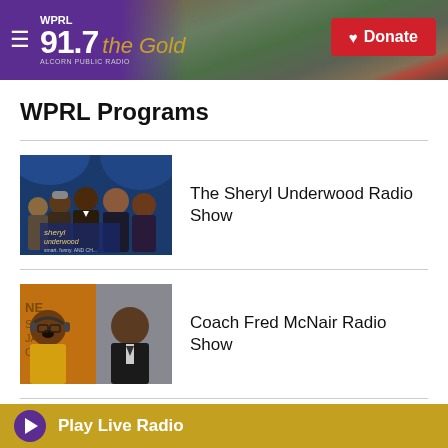91.7 WPRL The Gold — Donate
WPRL Programs
[Figure (photo): Promotional image for The Sheryl Underwood Radio Show featuring several people]
The Sheryl Underwood Radio Show
[Figure (photo): Promotional image for Coach Fred McNair Radio Show featuring two men]
Coach Fred McNair Radio Show
[Figure (photo): Partial thumbnail for a third radio program]
Jazz/Talk Tuesdays on WPRL 91.7 FM
Play Live Radio